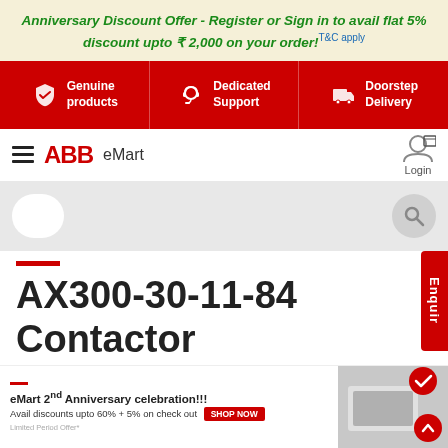Anniversary Discount Offer - Register or Sign in to avail flat 5% discount upto ₹ 2,000 on your order! T&C apply
[Figure (infographic): Red feature bar with three items: Genuine products (shield icon), Dedicated Support (headset icon), Doorstep Delivery (delivery icon)]
[Figure (screenshot): ABB eMart navigation bar with hamburger menu, ABB logo in red, eMart label, login and cart icons]
[Figure (screenshot): Search bar area with rounded white box on left and search icon on right on grey background]
AX300-30-11-84 Contactor
[Figure (infographic): eMart 2nd Anniversary celebration promotional banner with shop now button and product image on right, scroll up button]